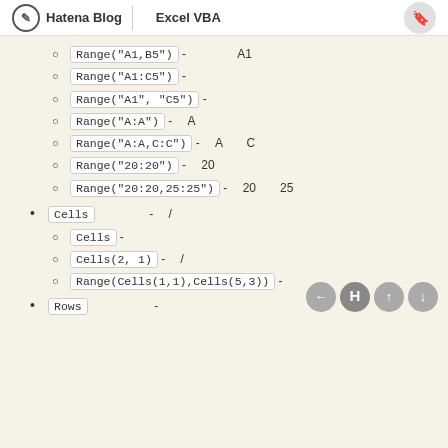Hatena Blog | Excel VBA
Range("A1,B5") - セルA1とセルB5
Range("A1:C5") - セル範囲
Range("A1", "C5") - セル範囲
Range("A:A") - 列A全体
Range("A:A,C:C") - 列Aと列C
Range("20:20") - 行20全体
Range("20:20,25:25") - 行20と行25
Cells プロパティ - 行/列番号で指定
Cells - 全セル
Cells(2, 1) - 行/列番号で指定
Range(Cells(1,1),Cells(5,3)) - セル範囲
Rows プロパティ - 行